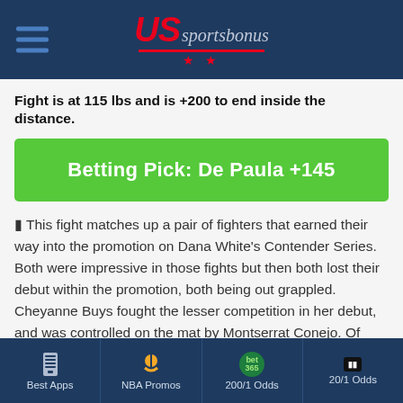[Figure (logo): US Sportsbonus logo with hamburger menu on dark navy header]
Fight is at 115 lbs and is +200 to end inside the distance.
Betting Pick: De Paula +145
🟦 This fight matches up a pair of fighters that earned their way into the promotion on Dana White's Contender Series. Both were impressive in those fights but then both lost their debut within the promotion, both being out grappled. Cheyanne Buys fought the lesser competition in her debut, and was controlled on the mat by Montserrat Conejo. Of course, we just saw Conejo get starched two weeks ago and that loss looks even a bit uglier now, as Buys was a
Best Apps | NBA Promos | 200/1 Odds | 20/1 Odds